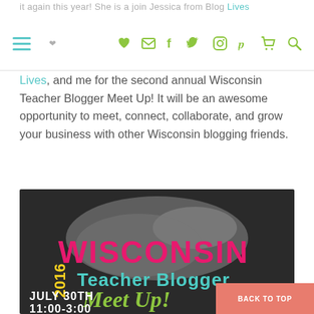it again this year! She is a join Jessica from Blog Lives, and me for the second annual Wisconsin Teacher Blogger Meet Up!
Lives, and me for the second annual Wisconsin Teacher Blogger Meet Up! It will be an awesome opportunity to meet, connect, collaborate, and grow your business with other Wisconsin blogging friends.
[Figure (illustration): Event flyer for 2016 Wisconsin Teacher Blogger Meet Up on a chalkboard background showing the state of Wisconsin silhouette. Text reads: WISCONSIN 2016 Teacher Blogger Meet Up! July 30th 11:00-3:00]
BACK TO TOP